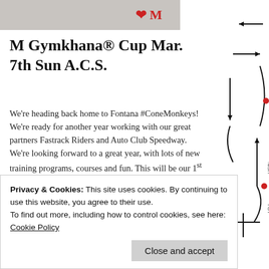[Figure (photo): Partial top image showing a logo or graphic with a red heart/M character on a gray background]
M Gymkhana® Cup Mar. 7th Sun A.C.S.
We're heading back home to Fontana #ConeMonkeys!  We're ready for another year working with our great partners Fastrack Riders and Auto Club Speedway.  We're looking forward to a great year, with lots of new training programs, courses and fun.  This will be our 1st event of the 2021 year at our home track with all…
02/14/2021 in MGX® Day Session.
Privacy & Cookies: This site uses cookies. By continuing to use this website, you agree to their use.
To find out more, including how to control cookies, see here: Cookie Policy
[Figure (engineering-diagram): Partial motorsport course/gymkhana track diagram on the right side with arrows indicating direction of travel, red dots for cone positions, and labels FINISH and GY]